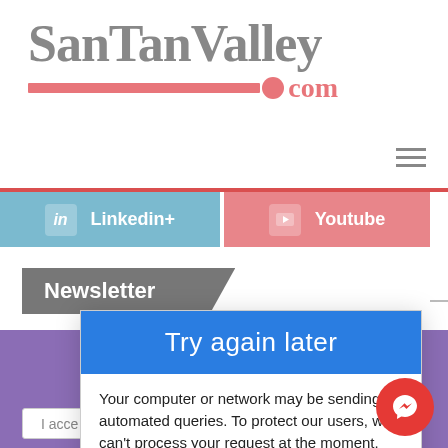[Figure (logo): SanTanValley.com logo with grey text and pink/red bar and dot accent]
[Figure (other): Hamburger menu icon (three horizontal lines)]
Linkedin+
Youtube
Newsletter
[Figure (screenshot): Modal dialog with blue header 'Try again later' and body text about automated queries]
We use ... the best ex...
Your computer or network may be sending automated queries. To protect our users, we can't process your request at the moment. For more details, visit our Help page.